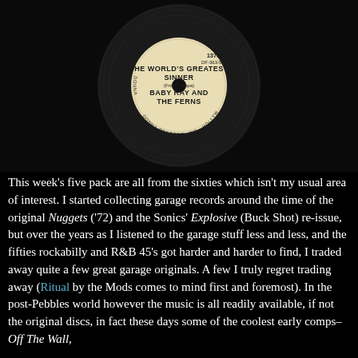[Figure (photo): Close-up photograph of a vinyl 45 RPM record on a black background. The cream/yellow label reads: THE WORLD'S GREATEST SINNER (Frank Zappa) BABY RAY AND THE FERNS. Label also shows: 1378, DF-363-527, DONNA RECORDS, INC., HOLLYWOOD 28, CALIF., U.S.A.]
This week’s five pack are all from the sixties which isn’t my usual area of interest. I started collecting garage records around the time of the original Nuggets (’72) and the Sonics’ Explosive (Buck Shot) re-issue, but over the years as I listened to the garage stuff less and less, and the fifties rockabilly and R&B 45’s got harder and harder to find, I traded away quite a few great garage originals. A few I truly regret trading away (Ritual by the Mods comes to mind first and foremost). In the post-Pebbles world however the music is all readily available, if not the original discs, in fact these days some of the coolest early comps– Off The Wall,